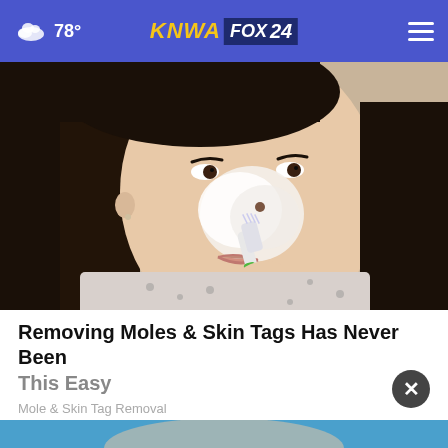78° KNWA FOX 24
[Figure (photo): A person applying a white cream/paste to their nose and face area using a toothbrush. The person has dark straight hair and is wearing a patterned blouse. The background is a light tan/beige color.]
Removing Moles & Skin Tags Has Never Been This Easy
Mole & Skin Tag Removal
[Figure (photo): Partial view of another advertisement image at the bottom of the page, showing a blue background.]